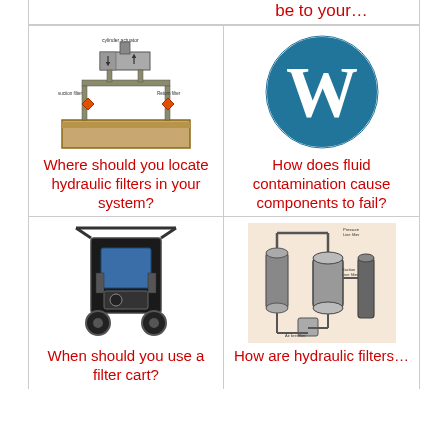be to your…
[Figure (logo): WordPress logo — blue circle with white W]
[Figure (schematic): Hydraulic system schematic showing cylinder actuator, suction filter, return filter, and reservoir]
Where should you locate hydraulic filters in your system?
How does fluid contamination cause components to fail?
[Figure (photo): Mobile hydraulic filter cart with wheels]
[Figure (engineering-diagram): Hydraulic filter assembly diagram showing pressure line filter, suction line filter, and air breather]
When should you use a filter cart?
How are hydraulic filters…